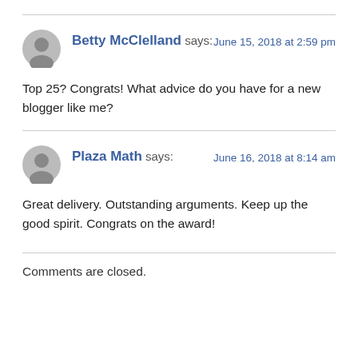Betty McClelland says:
June 15, 2018 at 2:59 pm
Top 25? Congrats! What advice do you have for a new blogger like me?
Plaza Math says:
June 16, 2018 at 8:14 am
Great delivery. Outstanding arguments. Keep up the good spirit. Congrats on the award!
Comments are closed.